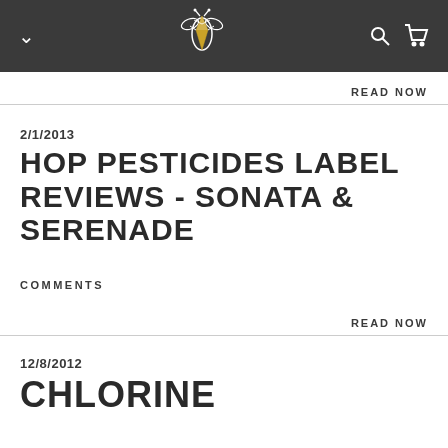Navigation bar with logo, chevron, search, and cart icons
READ NOW
2/1/2013
HOP PESTICIDES LABEL REVIEWS - SONATA & SERENADE
COMMENTS
READ NOW
12/8/2012
CHLORINE